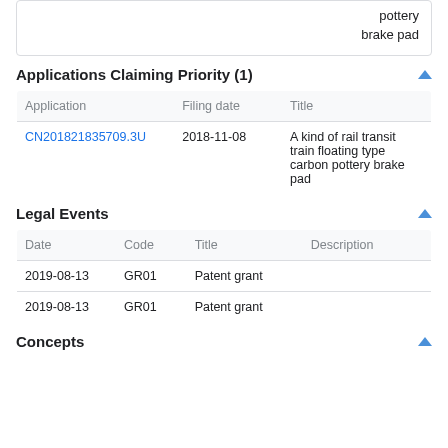| pottery
brake pad |
Applications Claiming Priority (1)
| Application | Filing date | Title |
| --- | --- | --- |
| CN201821835709.3U | 2018-11-08 | A kind of rail transit train floating type carbon pottery brake pad |
Legal Events
| Date | Code | Title | Description |
| --- | --- | --- | --- |
| 2019-08-13 | GR01 | Patent grant |  |
| 2019-08-13 | GR01 | Patent grant |  |
Concepts